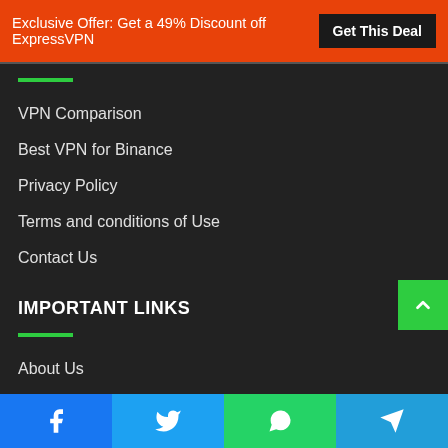Exclusive Offer: Get a 49% Discount off ExpressVPN  Get This Deal
VPN Comparison
Best VPN for Binance
Privacy Policy
Terms and conditions of Use
Contact Us
IMPORTANT LINKS
About Us
Contact Us
Privacy Policy
Facebook  Twitter  WhatsApp  Telegram